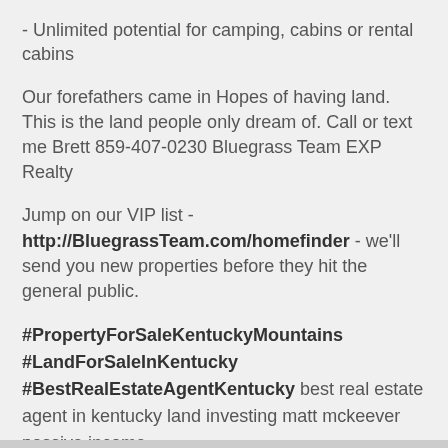- Unlimited potential for camping, cabins or rental cabins
Our forefathers came in Hopes of having land. This is the land people only dream of. Call or text me Brett 859-407-0230 Bluegrass Team EXP Realty
Jump on our VIP list - http://BluegrassTeam.com/homefinder - we'll send you new properties before they hit the general public.
#PropertyForSaleKentuckyMountains #LandForSaleInKentucky #BestRealEstateAgentKentucky best real estate agent in kentucky land investing matt mckeever passive income